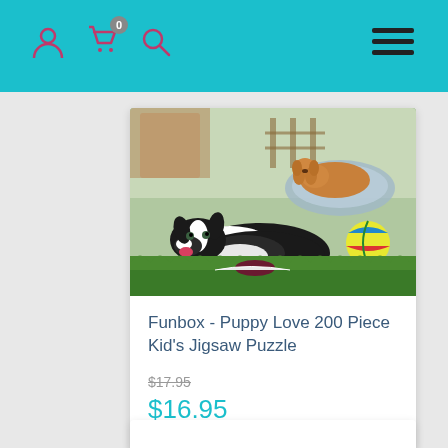Navigation header with user, cart (0), search icons and hamburger menu
[Figure (photo): Puppy Love puzzle product image showing multiple dogs on green grass, including a black-and-white border collie in the foreground, a golden/caramel colored puppy resting on a dog bed, and other dogs in the background with a colorful ball.]
Funbox - Puppy Love 200 Piece Kid's Jigsaw Puzzle
$17.95
$16.95
ADD TO CART